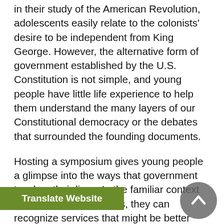in their study of the American Revolution, adolescents easily relate to the colonists' desire to be independent from King George. However, the alternative form of government established by the U.S. Constitution is not simple, and young people have little life experience to help them understand the many layers of our Constitutional democracy or the debates that surrounded the founding documents.
Hosting a symposium gives young people a glimpse into the ways that government touches their lives. In the familiar context of their own experiences, they can recognize services that might be better provided by the government (e.g. street signs) and others that are better done by private businesses (e.g. store signs). They can use the modern context to recognize that [decisions] be made locally (e.g. summer